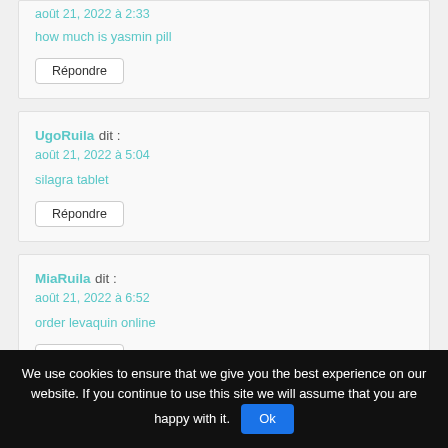août 21, 2022 à 2:33
how much is yasmin pill
Répondre
UgoRuila dit :
août 21, 2022 à 5:04
silagra tablet
Répondre
MiaRuila dit :
août 21, 2022 à 6:52
order levaquin online
Répondre
We use cookies to ensure that we give you the best experience on our website. If you continue to use this site we will assume that you are happy with it.
Ok